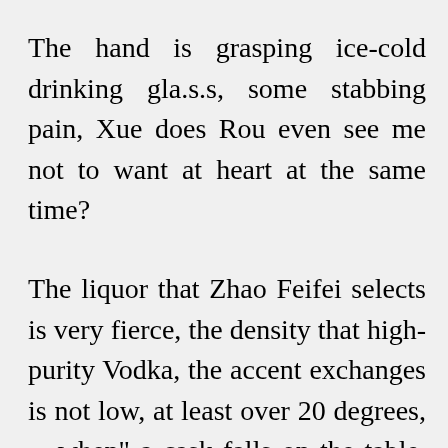The hand is grasping ice-cold drinking gla.s.s, some stabbing pain, Xue does Rou even see me not to want at heart at the same time?
The liquor that Zhao Feifei selects is very fierce, the density that high-purity Vodka, the accent exchanges is not low, at least over 20 degrees, „, when" a cask falls on the table, today I and she can only have one to go out of here stance, said: „Listened to say supply that the Xiao Yao Guildmaster alcohol capacity was specially good, exactly the girl was also the rare and beautiful flowers physique of Drink-